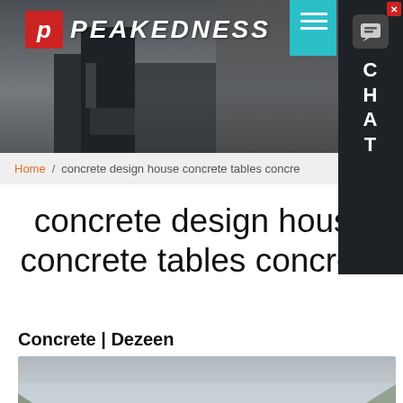[Figure (screenshot): Peakedness website header banner with industrial concrete plant machinery photo in background, logo top-left showing stylized P logo and PEAKEDNESS text, teal accent box top-right, and chat widget overlay on right side with C H A T letters]
Home / concrete design house concrete tables concre
concrete design house concrete tables concrete
Concrete | Dezeen
[Figure (photo): Aerial landscape photo showing mountains and valley with city/town below, hazy atmosphere, with chat bubble overlay saying 'Hey, we are live 24/7. How may I help you?' and a blue chat button with ellipsis icon bottom-right]